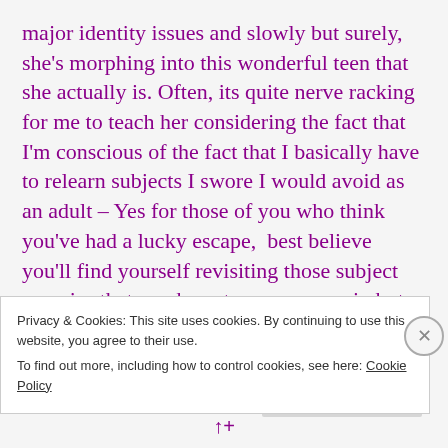major identity issues and slowly but surely, she's morphing into this wonderful teen that she actually is. Often, its quite nerve racking for me to teach her considering the fact that I'm conscious of the fact that I basically have to relearn subjects I swore I would avoid as an adult – Yes for those of you who think you've had a lucky escape, best believe you'll find yourself revisiting those subject enemies that you have to conquer again but this time from a totally different angle!!
Privacy & Cookies: This site uses cookies. By continuing to use this website, you agree to their use.
To find out more, including how to control cookies, see here: Cookie Policy